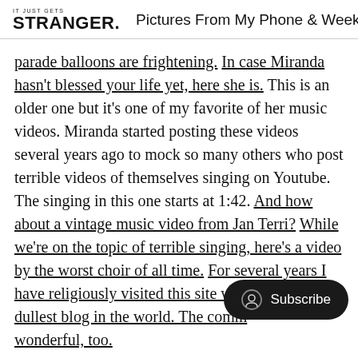IT JUST GETS STRANGER. Pictures From My Phone & Weekly D
parade balloons are frightening. In case Miranda hasn't blessed your life yet, here she is. This is an older one but it's one of my favorite of her music videos. Miranda started posting these videos several years ago to mock so many others who post terrible videos of themselves singing on Youtube. The singing in this one starts at 1:42. And how about a vintage music video from Jan Terri? While we're on the topic of terrible singing, here's a video by the worst choir of all time. For several years I have religiously visited this site weekly. The dullest blog in the world. The comm[ents are] wonderful, too.